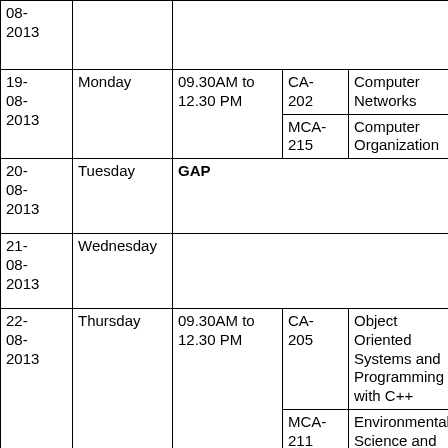| Date | Day | Time | Code | Subject |
| --- | --- | --- | --- | --- |
| 08-2013 |  |  |  |  |
| 19-08-2013 | Monday | 09.30AM to 12.30 PM | CA-202 | Computer Networks |
| 19-08-2013 | Monday | 09.30AM to 12.30 PM | MCA-215 | Computer Organization |
| 20-08-2013 | Tuesday | GAP |  |  |
| 21-08-2013 | Wednesday |  |  |  |
| 22-08-2013 | Thursday | 09.30AM to 12.30 PM | CA-205 | Object Oriented Systems and Programming with C++ |
| 22-08-2013 | Thursday | 09.30AM to 12.30 PM | MCA-211 | Environmental Science and Ethics |
| 23-08-2013 | Friday | GAP |  |  |